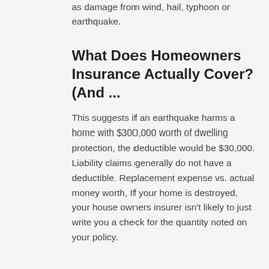as damage from wind, hail, typhoon or earthquake.
What Does Homeowners Insurance Actually Cover? (And ...
This suggests if an earthquake harms a home with $300,000 worth of dwelling protection, the deductible would be $30,000. Liability claims generally do not have a deductible. Replacement expense vs. actual money worth, If your home is destroyed, your house owners insurer isn't likely to just write you a check for the quantity noted on your policy.